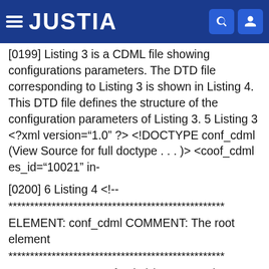JUSTIA
[0199] Listing 3 is a CDML file showing configurations parameters. The DTD file corresponding to Listing 3 is shown in Listing 4. This DTD file defines the structure of the configuration parameters of Listing 3. 5 Listing 3 <?xml version="1.0" ?> <!DOCTYPE conf_cdml (View Source for full doctype . . . )> <coof_cdml es_id="10021" in-dex_url="http://www.vversedge.com/cdml_data/index.1002 <os_params organization="Versedge" domain="www.versedge.com" email="oren@versedge.com" contact_info="Oren Unger"/> </conf_cdml>
[0200] 6 Listing 4 <!-- ************************************************* ELEMENT: conf_cdml COMMENT: The root element ************************************************* --> <!ELEMENT conf_cdml (os_params)> <!ATTLIST conf_cdml es_id CDATA #REQUIRED index_url CDATA